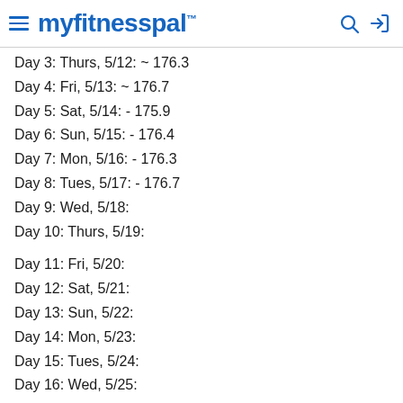myfitnesspal
Day 3: Thurs, 5/12: ~ 176.3
Day 4: Fri, 5/13: ~ 176.7
Day 5: Sat, 5/14: - 175.9
Day 6: Sun, 5/15: - 176.4
Day 7: Mon, 5/16: - 176.3
Day 8: Tues, 5/17: - 176.7
Day 9: Wed, 5/18:
Day 10: Thurs, 5/19:
Day 11: Fri, 5/20:
Day 12: Sat, 5/21:
Day 13: Sun, 5/22:
Day 14: Mon, 5/23:
Day 15: Tues, 5/24:
Day 16: Wed, 5/25:
Day 17: Thurs, 5/26:
Day 18: Fri, 5/27: